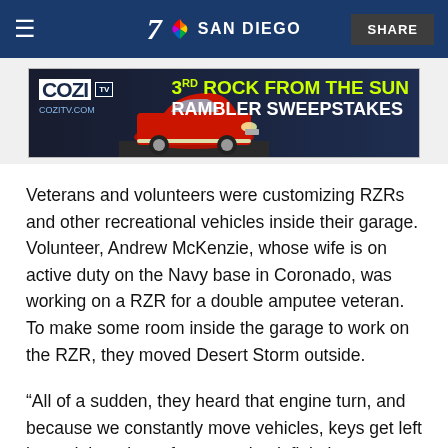7 NBC SAN DIEGO | SHARE
[Figure (photo): COZI TV advertisement banner: '3rd Rock from the Sun Rambler Sweepstakes' with red classic car on dark blue background. URL: COZITV.COM]
Veterans and volunteers were customizing RZRs and other recreational vehicles inside their garage. Volunteer, Andrew McKenzie, whose wife is on active duty on the Navy base in Coronado, was working on a RZR for a double amputee veteran. To make some room inside the garage to work on the RZR, they moved Desert Storm outside.
“All of a sudden, they heard that engine turn, and because we constantly move vehicles, keys get left in, and the crime of opportunity definitely got us that day,” said Gougherty.